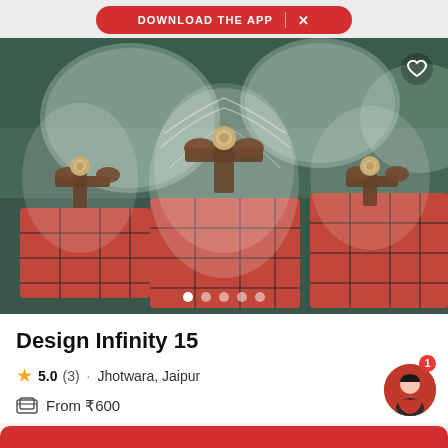DOWNLOAD THE APP  ×
[Figure (photo): Product photo showing decorative gift boxes wrapped in red fabric with plaid pattern, topped with white tulle, brown satin ribbons, and beige rose decorations. Multiple gift sets arranged on a dark green table surface with clear glass dome covers in the background.]
Design Infinity 15
★ 5.0 (3) · Jhotwara, Jaipur
From ₹600